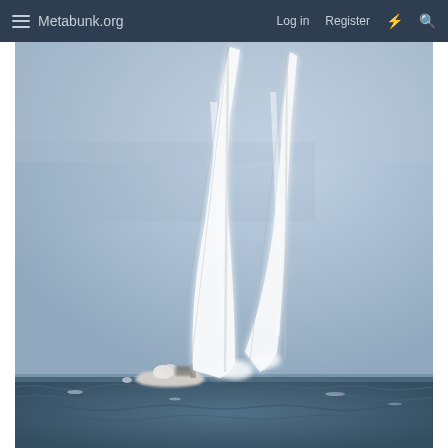Metabunk.org  Log in  Register
[Figure (photo): A sailboat on the ocean photographed from a distance. The boat hull is barely visible above the waterline at the bottom of the image. Two tall white sails are prominently visible, highly reflective and bright white against a hazy blue-grey sky. The water in the foreground is dark blue with waves. The image appears to be a blurry, zoomed photograph.]